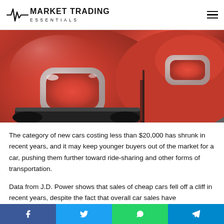Market Trading Essentials
[Figure (photo): Close-up photo of red Mini Cooper cars from behind, showing tail lights with chrome detail]
The category of new cars costing less than $20,000 has shrunk in recent years, and it may keep younger buyers out of the market for a car, pushing them further toward ride-sharing and other forms of transportation.
Data from J.D. Power shows that sales of cheap cars fell off a cliff in recent years, despite the fact that overall car sales have
Facebook  Twitter  WhatsApp  Telegram